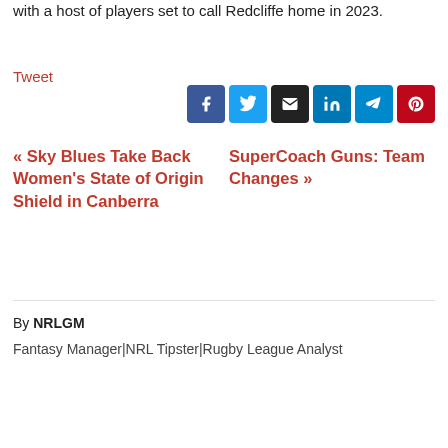with a host of players set to call Redcliffe home in 2023.
Tweet
[Figure (other): Social share buttons: Facebook, Twitter, Email, LinkedIn, Telegram, Pinterest]
« Sky Blues Take Back Women's State of Origin Shield in Canberra
SuperCoach Guns: Team Changes »
By NRLGM
Fantasy Manager|NRL Tipster|Rugby League Analyst